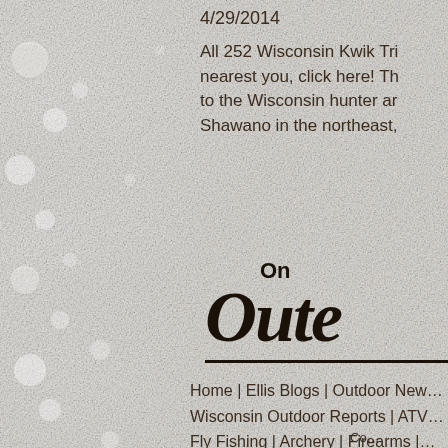4/29/2014
All 252 Wisconsin Kwik Tri… nearest you, click here! Th… to the Wisconsin hunter an… Shawano in the northeast,
[Figure (logo): On the Outdoor logo in script font with underline]
Home | Ellis Blogs | Outdoor New… Wisconsin Outdoor Reports | ATV… Fly Fishing | Archery | Firearms |… Outdoor Photography | Scouting … Co…